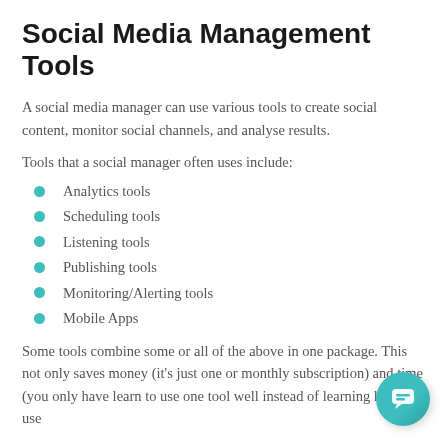Social Media Management Tools
A social media manager can use various tools to create social content, monitor social channels, and analyse results.
Tools that a social manager often uses include:
Analytics tools
Scheduling tools
Listening tools
Publishing tools
Monitoring/Alerting tools
Mobile Apps
Some tools combine some or all of the above in one package. This not only saves money (it's just one or monthly subscription) and time (you only have learn to use one tool well instead of learning how to use